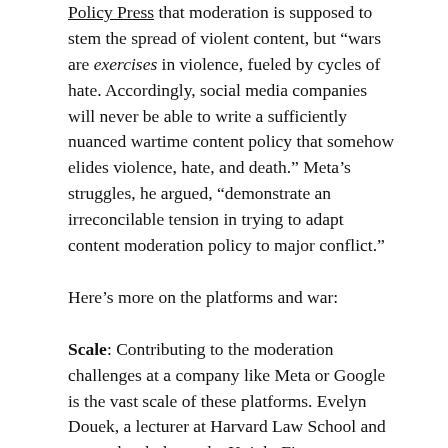Policy Press that moderation is supposed to stem the spread of violent content, but “wars are exercises in violence, fueled by cycles of hate. Accordingly, social media companies will never be able to write a sufficiently nuanced wartime content policy that somehow elides violence, hate, and death.” Meta’s struggles, he argued, “demonstrate an irreconcilable tension in trying to adapt content moderation policy to major conflict.”
Here’s more on the platforms and war:
Scale: Contributing to the moderation challenges at a company like Meta or Google is the vast scale of these platforms. Evelyn Douek, a lecturer at Harvard Law School and research scholar at the Knight First Amendment Institute, gave a talk last year at Stanford called “The Administrative State of Content Moderation,” in which she noted that in the 30 minutes it took for her to give the presentation, Facebook would have taken down